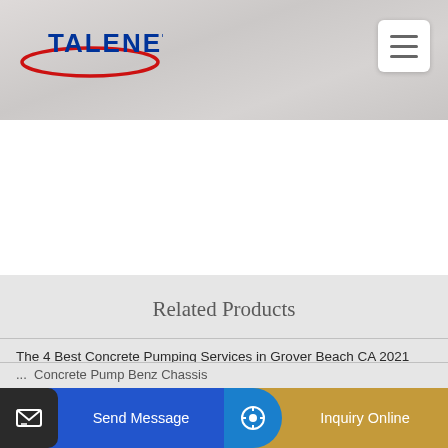[Figure (logo): TALENET company logo with blue text and red swoosh/ellipse graphic]
Related Products
The 4 Best Concrete Pumping Services in Grover Beach CA 2021
2008 MACK Granite GU813 Concrete Mixer Truck CBMW 10 5
... Concrete Pump Benz Chassis
Send Message
Inquiry Online